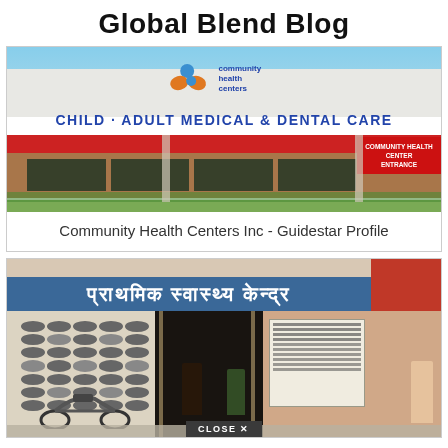Global Blend Blog
[Figure (photo): Exterior photo of a Community Health Centers building with signage reading 'CHILD - ADULT MEDICAL & DENTAL CARE' and 'COMMUNITY HEALTH CENTER ENTRANCE' red sign on the right]
Community Health Centers Inc - Guidestar Profile
[Figure (photo): Exterior photo of an Indian community health center with Hindi text signage, people standing at entrance, motorcycle parked outside, and a 'CLOSE X' button overlay at the bottom]